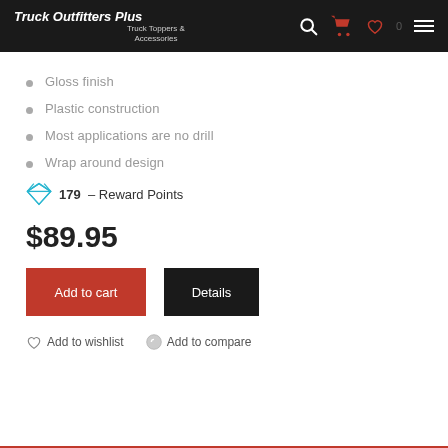Truck Outfitters Plus — Truck Toppers & Accessories
Gloss finish
Plastic construction
Most applications are no drill
Wrap around design
179 – Reward Points
$89.95
Add to cart
Details
Add to wishlist
Add to compare